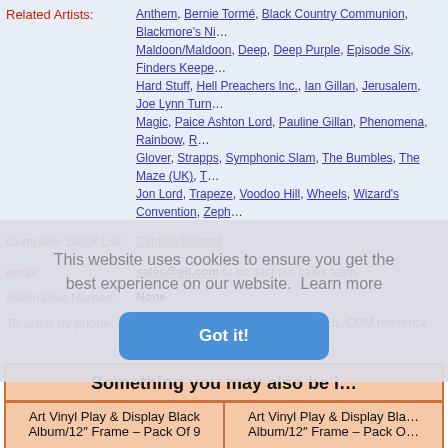Related Artists: Anthem, Bernie Tormé, Black Country Communion, Blackmore's Night, Maldoon/Maldoon, Deep, Deep Purple, Episode Six, Finders Keepers, Hard Stuff, Hell Preachers Inc., Ian Gillan, Jerusalem, Joe Lynn Turner, Magic, Paice Ashton Lord, Pauline Gillan, Phenomena, Rainbow, Roger Glover, Strapps, Symphonic Slam, The Bumbles, The Maze (UK), T, Jon Lord, Trapeze, Voodoo Hill, Wheels, Wizard's Convention, Zeph...
Complete Stock List: Captain Beyond
email: sales@eil.com to contact our sales team.
Alternative Names: None
To order by phone: Call 011-44-01474 815010 quoting EIL.COM reference number CYD...
Something you may also be interested in
Art Vinyl Play & Display Black Album/12" Frame – Pack Of 9
Art Vinyl Play & Display Black Album/12" Frame – Pack O...
This website uses cookies to ensure you get the best experience on our website. Learn more
Got it!